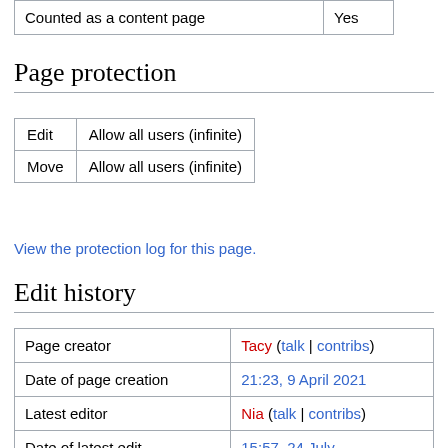| Counted as a content page | Yes |
Page protection
| Edit | Move |
| --- | --- |
| Edit | Allow all users (infinite) |
| Move | Allow all users (infinite) |
View the protection log for this page.
Edit history
| Page creator | Tacy (talk | contribs) |
| Date of page creation | 21:23, 9 April 2021 |
| Latest editor | Nia (talk | contribs) |
| Date of latest edit | 15:57, 24 July |